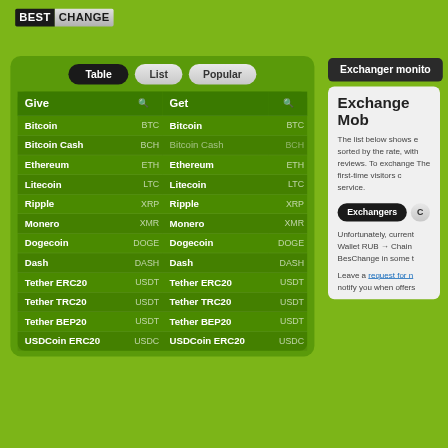[Figure (logo): BestChange logo with BEST in black box and CHANGE in grey box]
Exchanger monito
| Give |  | Get |  |
| --- | --- | --- | --- |
| Bitcoin | BTC | Bitcoin | BTC |
| Bitcoin Cash | BCH | Bitcoin Cash | BCH |
| Ethereum | ETH | Ethereum | ETH |
| Litecoin | LTC | Litecoin | LTC |
| Ripple | XRP | Ripple | XRP |
| Monero | XMR | Monero | XMR |
| Dogecoin | DOGE | Dogecoin | DOGE |
| Dash | DASH | Dash | DASH |
| Tether ERC20 | USDT | Tether ERC20 | USDT |
| Tether TRC20 | USDT | Tether TRC20 | USDT |
| Tether BEP20 | USDT | Tether BEP20 | USDT |
| USDCoin ERC20 | USDC | USDCoin ERC20 | USDC |
Exchange Mob
The list below shows exchangers sorted by the rate, with reviews. To exchange The first-time visitors c service.
Exchangers
Unfortunately, current Wallet RUB → Chain BesChange in some t
Leave a request for n notify you when offers